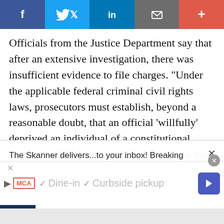[Figure (screenshot): Social media sharing bar with Facebook, Twitter, LinkedIn, email, and plus buttons]
Officials from the Justice Department say that after an extensive investigation, there was insufficient evidence to file charges. “Under the applicable federal criminal civil rights laws, prosecutors must establish, beyond a reasonable doubt, that an official ‘willfully’ deprived an individual of a constitutional right, meaning that the official acted with the deliberate and specific intent to do
[Figure (screenshot): Newsletter subscription popup: 'The Skanner delivers...to your inbox! Breaking news, local stories & events sent twice a week' with Subscribe button and infolinks badge]
[Figure (screenshot): Ad bar showing MCA logo, Dine-in and Curbside pickup options with navigation arrow]